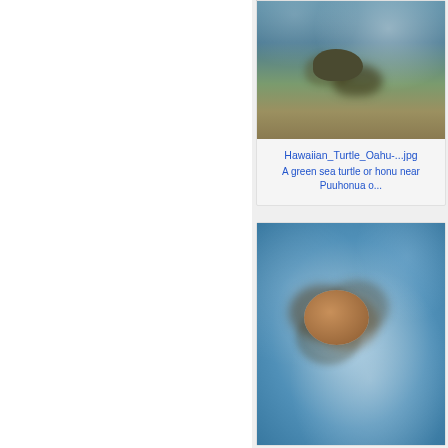[Figure (photo): Underwater photo of a green sea turtle (honu) swimming near coral reef at Puuhonua o Honaunau, Oahu, Hawaii]
Hawaiian_Turtle_Oahu-...jpg
A green sea turtle or honu near Puuhonua o...
[Figure (photo): Aerial view of a green sea turtle swimming in shallow blue water with sandy bottom]